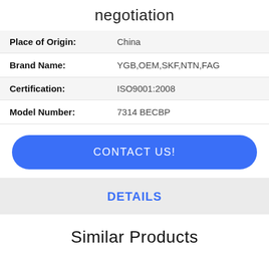negotiation
| Place of Origin: | China |
| Brand Name: | YGB,OEM,SKF,NTN,FAG |
| Certification: | ISO9001:2008 |
| Model Number: | 7314 BECBP |
CONTACT US!
DETAILS
Similar Products